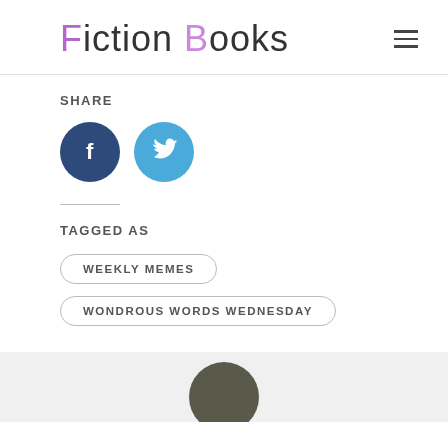Fiction Books
SHARE
[Figure (other): Facebook and Twitter social share icon buttons]
TAGGED AS
WEEKLY MEMES
WONDROUS WORDS WEDNESDAY
[Figure (photo): Partial view of a circular avatar image at the bottom of the page]